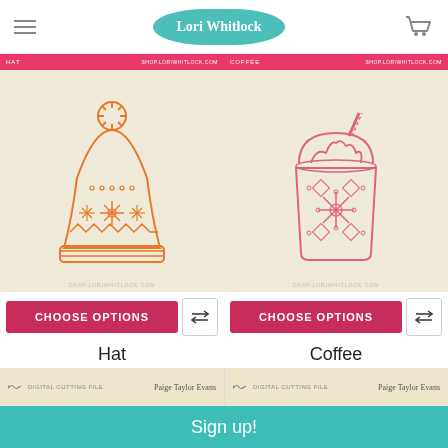Lori Whitlock
[Figure (illustration): Orange line art knit winter hat with snowflake and geometric patterns on beige card background]
[Figure (illustration): Pink/red line art frappuccino coffee cup with whipped cream, straw, and snowflake pattern on beige card background]
CHOOSE OPTIONS
CHOOSE OPTIONS
Hat
Coffee
Paige Evans
Paige Evans
$1.49
$1.49
[Figure (screenshot): Partial view of product card with scissors icon and Paige Taylor Evans branding]
[Figure (screenshot): Partial view of product card with scissors icon and Paige Taylor Evans branding]
Sign up!